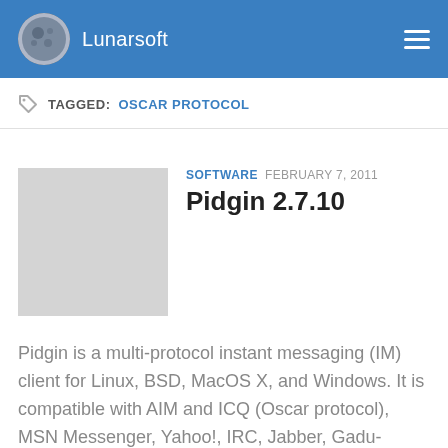Lunarsoft
TAGGED: OSCAR PROTOCOL
SOFTWARE  FEBRUARY 7, 2011
Pidgin 2.7.10
Pidgin is a multi-protocol instant messaging (IM) client for Linux, BSD, MacOS X, and Windows. It is compatible with AIM and ICQ (Oscar protocol), MSN Messenger, Yahoo!, IRC, Jabber, Gadu-Gadu, SILC, Novell GroupWise Messenger, Lotus Sametime, and Zephyr networks. Gaim users can log in to multiple accounts on multiple IM networks simultaneously. This means that you can be chatting with friends on AOL Instant...